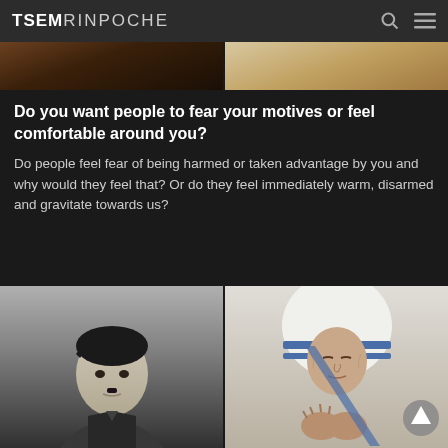TSEMRINPOCHE
[Figure (photo): Two cropped photos side by side showing food/nature imagery at the top of the page]
Do you want people to fear your motives or feel comfortable around you?
Do people feel fear of being harmed or taken advantage by you and why would they feel that? Or do they feel immediately warm, disarmed and gravitate towards us?
[Figure (photo): Two photos side by side: left is a black-and-white portrait of a man in military uniform, right is a color photo of an elderly woman in white and blue religious habit with hands clasped in prayer. A scroll-up button is visible on the right photo.]